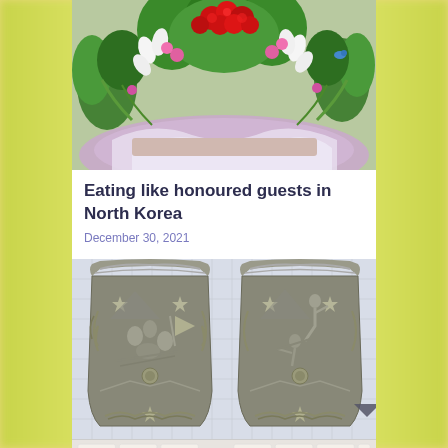[Figure (photo): Floral arrangement with red roses, white lilies, pink and green flowers on a table draped with purple and white fabric]
Eating like honoured guests in North Korea
December 30, 2021
[Figure (photo): Two ornate metallic relief plaques side by side showing military/heroic scenes with figures, stars, laurel wreaths and weapons, mounted on a tiled wall]
[Figure (photo): Strip of small thumbnail images at the bottom showing various food or object thumbnails]